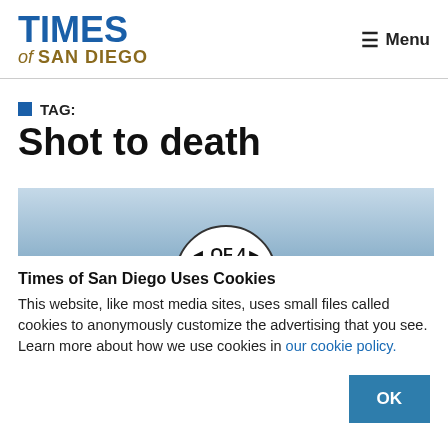TIMES of SAN DIEGO | Menu
TAG: Shot to death
[Figure (other): Partial image strip with light blue gradient background and circular badge showing '1 OF 4']
Times of San Diego Uses Cookies
This website, like most media sites, uses small files called cookies to anonymously customize the advertising that you see. Learn more about how we use cookies in our cookie policy.
OK